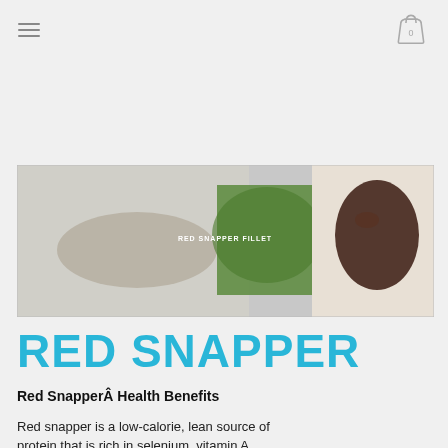[Figure (photo): Red snapper fillet product photo showing fish with green garnish and dark sauce on a light background. Text overlay reads 'RED SNAPPER FILLET'.]
RED SNAPPER
Red SnapperÂ Health Benefits
Red snapper is a low-calorie, lean source of protein that is rich in selenium, vitamin A,